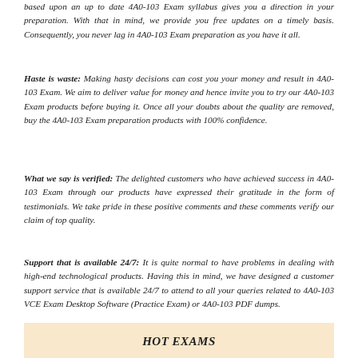based upon an up to date 4A0-103 Exam syllabus gives you a direction in your preparation. With that in mind, we provide you free updates on a timely basis. Consequently, you never lag in 4A0-103 Exam preparation as you have it all.
Haste is waste: Making hasty decisions can cost you your money and result in 4A0-103 Exam. We aim to deliver value for money and hence invite you to try our 4A0-103 Exam products before buying it. Once all your doubts about the quality are removed, buy the 4A0-103 Exam preparation products with 100% confidence.
What we say is verified: The delighted customers who have achieved success in 4A0-103 Exam through our products have expressed their gratitude in the form of testimonials. We take pride in these positive comments and these comments verify our claim of top quality.
Support that is available 24/7: It is quite normal to have problems in dealing with high-end technological products. Having this in mind, we have designed a customer support service that is available 24/7 to attend to all your queries related to 4A0-103 VCE Exam Desktop Software (Practice Exam) or 4A0-103 PDF dumps.
HOT EXAMS